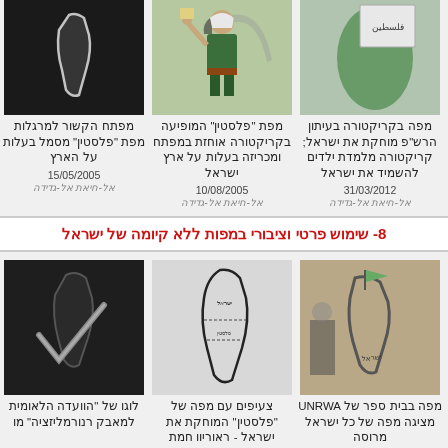[Figure (photo): Dark map image - top left card]
מפתח הקשור למרגלות מפת "פלסטין" מסמל בעלות על הארץ
15/05/2005
אל-חיאת אל-גדידה
[Figure (illustration): Cartoon figure holding something - middle top card]
מפת "פלסטין" המופיעה בקריקטורה אוחזת במפתח ומכריזה בעלות על ארץ ישראל
10/08/2005
אל-חיאת אל-גדידה
[Figure (illustration): Map with flag and Arabic text - top right card]
מפה בקריקטורה בעיתון הרש"פ מוחקת את ישראל; קריקטורה מלמדת ילדים להשמיד את ישראל
31/03/2012
אל-חיאת אל-גדידה
8- שימוש פרטי וציבורי במפות ללא קיומה של ישראל
[Figure (photo): Dark logo/symbol - bottom left card]
לוגו של "הוועדה הלאומית למאבק רנורמליזציה" מו
[Figure (photo): Hand-drawn map of Palestine/Israel - bottom middle card]
צעיפים עם מפה של "פלסטין" המוחקת את ישראל - ראוריוו חמת
[Figure (photo): Wall with drawn map/flag - bottom right card]
מפה בבית ספר של UNRWA מציגה מפה של כל ישראל מרוסה